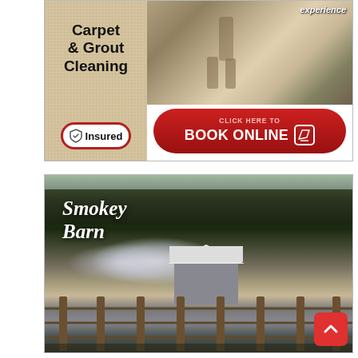[Figure (infographic): Carpet and Grout Cleaning advertisement. Left panel shows bold text 'Carpet & Grout Cleaning' and an 'Insured' badge with shield icon on tan/burlap background. Right panel shows a photo of a person cleaning carpet with a machine, text 'experience' in top right, and a red rounded-rectangle button reading 'CLICK HERE TO BOOK ONLINE' with a pencil icon.]
[Figure (photo): Outdoor photograph of a barn structure with smoke billowing from it, surrounded by trees and a wooden fence in the foreground. Cursive script text 'Smokey Barn' overlaid on the left side of the image in white. A red scroll-to-top button with upward arrow is in the bottom right corner.]